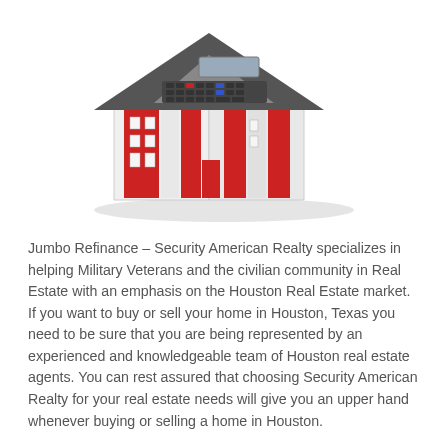[Figure (illustration): A 3D model of a miniature house with red panels and white walls, with a calculator forming the roof/facade, suggesting real estate finance or mortgage calculations.]
Jumbo Refinance – Security American Realty specializes in helping Military Veterans and the civilian community in Real Estate with an emphasis on the Houston Real Estate market. If you want to buy or sell your home in Houston, Texas you need to be sure that you are being represented by an experienced and knowledgeable team of Houston real estate agents. You can rest assured that choosing Security American Realty for your real estate needs will give you an upper hand whenever buying or selling a home in Houston.